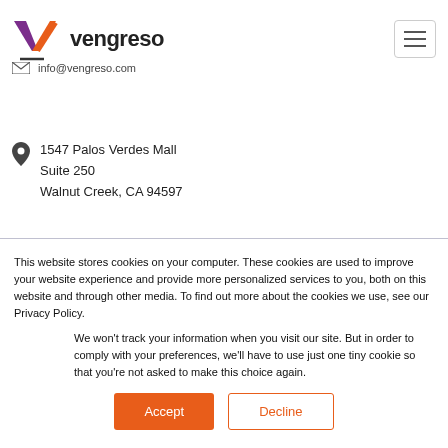[Figure (logo): Vengreso logo with purple and orange V checkmark and bold text 'vengreso']
info@vengreso.com
1547 Palos Verdes Mall
Suite 250
Walnut Creek, CA 94597
This website stores cookies on your computer. These cookies are used to improve your website experience and provide more personalized services to you, both on this website and through other media. To find out more about the cookies we use, see our Privacy Policy.
We won't track your information when you visit our site. But in order to comply with your preferences, we'll have to use just one tiny cookie so that you're not asked to make this choice again.